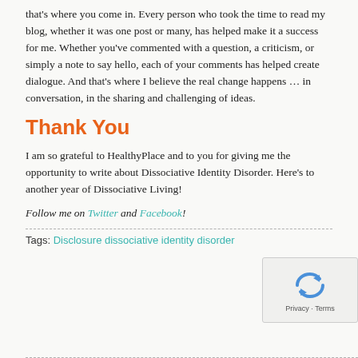that's where you come in. Every person who took the time to read my blog, whether it was one post or many, has helped make it a success for me. Whether you've commented with a question, a criticism, or simply a note to say hello, each of your comments has helped create dialogue. And that's where I believe the real change happens … in conversation, in the sharing and challenging of ideas.
Thank You
I am so grateful to HealthyPlace and to you for giving me the opportunity to write about Dissociative Identity Disorder. Here's to another year of Dissociative Living!
Follow me on Twitter and Facebook!
Tags: Disclosure dissociative identity disorder